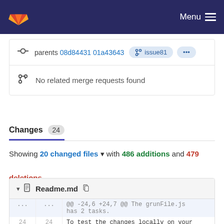GitLab — Menu
parents 08d84431 01a43643  issue81 ...
No related merge requests found
Changes 24
Showing 20 changed files with 486 additions and 479 deletions
Readme.md — @@ -24,6 +24,7 @@ The grunFile.js has 2 tasks. 24 24 To test the changes locally on your computer: